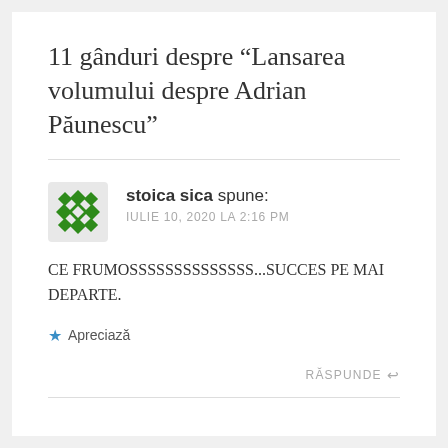11 gânduri despre “Lansarea volumului despre Adrian Păunescu”
stoica sica spune: IULIE 10, 2020 LA 2:16 PM
CE FRUMOSSSSSSSSSSSSSS...SUCCES PE MAI DEPARTE.
★ Apreciază
RĂSPUNDE